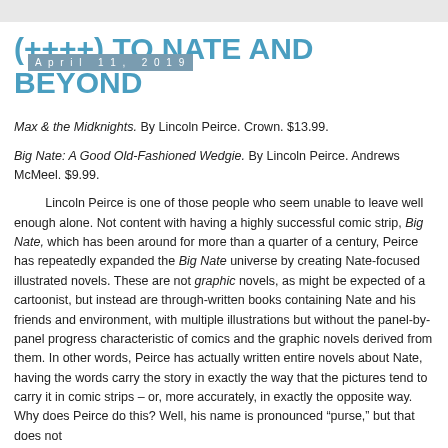April 11, 2019
(++++) TO NATE AND BEYOND
Max & the Midknights. By Lincoln Peirce. Crown. $13.99.
Big Nate: A Good Old-Fashioned Wedgie. By Lincoln Peirce. Andrews McMeel. $9.99.
Lincoln Peirce is one of those people who seem unable to leave well enough alone. Not content with having a highly successful comic strip, Big Nate, which has been around for more than a quarter of a century, Peirce has repeatedly expanded the Big Nate universe by creating Nate-focused illustrated novels. These are not graphic novels, as might be expected of a cartoonist, but instead are through-written books containing Nate and his friends and environment, with multiple illustrations but without the panel-by-panel progress characteristic of comics and the graphic novels derived from them. In other words, Peirce has actually written entire novels about Nate, having the words carry the story in exactly the way that the pictures tend to carry it in comic strips – or, more accurately, in exactly the opposite way. Why does Peirce do this? Well, his name is pronounced “purse,” but that does not